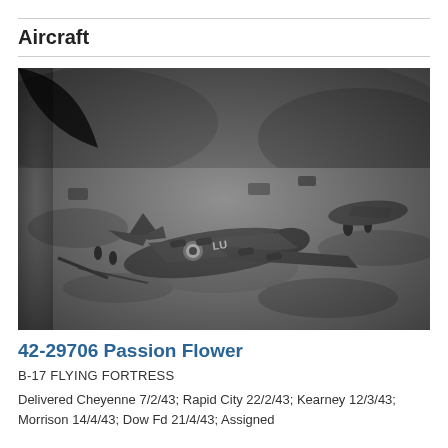Aircraft
[Figure (photo): Black and white aerial/ground photograph of a crashed B-17 Flying Fortress bomber aircraft (42-29706 Passion Flower) on open terrain, with people and vehicles visible around the wreckage.]
42-29706 Passion Flower
B-17 FLYING FORTRESS
Delivered Cheyenne 7/2/43; Rapid City 22/2/43; Kearney 12/3/43; Morrison 14/4/43; Dow Fd 21/4/43; Assigned